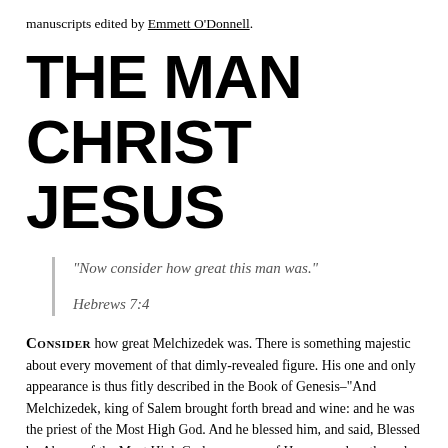manuscripts edited by Emmett O'Donnell.
THE MAN CHRIST JESUS
“Now consider how great this man was.”

Hebrews 7:4
CONSIDER how great Melchizedek was. There is something majestic about every movement of that dimly-revealed figure. His one and only appearance is thus fitly described in the Book of Genesis–“And Melchizedek, king of Salem brought forth bread and wine: and he was the priest of the Most High God. And he blessed him, and said, Blessed be Abram of the Most High God, possessor of Heaven and earth: and blessed be the Most High God, which has delivered your enemies into your hand. And he gave him tithes of all.” We see but little of him, yet we see nothing little in him. He is here and gone, as far as the historic page is concerned,